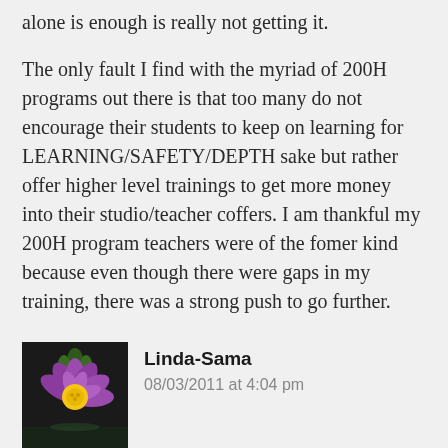alone is enough is really not getting it.
The only fault I find with the myriad of 200H programs out there is that too many do not encourage their students to keep on learning for LEARNING/SAFETY/DEPTH sake but rather offer higher level trainings to get more money into their studio/teacher coffers. I am thankful my 200H program teachers were of the fomer kind because even though there were gaps in my training, there was a strong push to go further.
★ Like
Log in to Reply
Linda-Sama
08/03/2011 at 4:04 pm